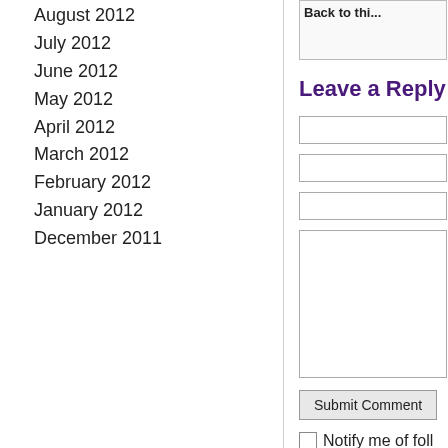August 2012
July 2012
June 2012
May 2012
April 2012
March 2012
February 2012
January 2012
December 2011
Leave a Reply
Notify me of foll